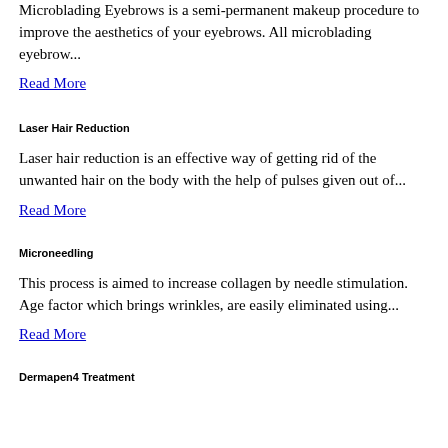Microblading Eyebrows is a semi-permanent makeup procedure to improve the aesthetics of your eyebrows. All microblading eyebrow...
Read More
Laser Hair Reduction
Laser hair reduction is an effective way of getting rid of the unwanted hair on the body with the help of pulses given out of...
Read More
Microneedling
This process is aimed to increase collagen by needle stimulation. Age factor which brings wrinkles, are easily eliminated using...
Read More
Dermapen4 Treatment